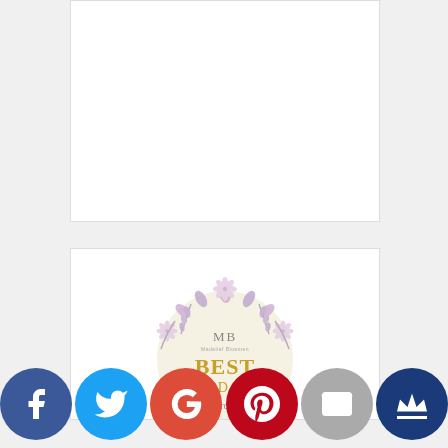[Figure (other): White card/placeholder box top]
[Figure (illustration): Award badge with purple floral wreath, cream center, gold text reading BEST FOOD BLOG, MB Madelief Bloemen logo, award year 2020]
[Figure (other): Social sharing bar with Facebook, Twitter, Google+, Pinterest, Email, and Crown/BlogLovin icons]